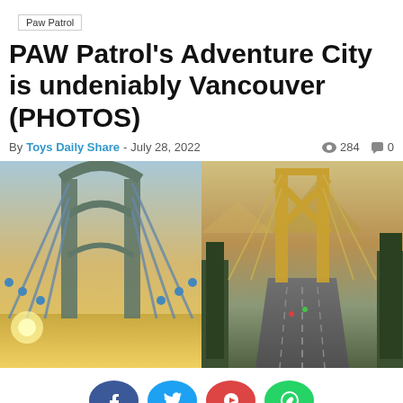Paw Patrol
PAW Patrol's Adventure City is undeniably Vancouver (PHOTOS)
By Toys Daily Share - July 28, 2022  👁 284 💬 0
[Figure (photo): Two side-by-side photos of Vancouver suspension bridges. Left: Stanley Park-area bridge with blue cables and warm sunset glow. Right: Lions Gate Bridge from road level with mountains and golden light in background.]
[Figure (infographic): Row of social sharing buttons: Facebook (blue), Twitter (light blue), YouTube/Google (red), WhatsApp (green)]